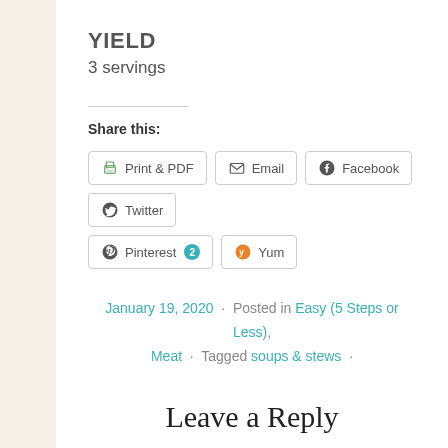YIELD
3 servings
Share this:
Print & PDF · Email · Facebook · Twitter · Pinterest 2 · Yum
January 19, 2020 · Posted in Easy (5 Steps or Less), Meat · Tagged soups & stews ·
Leave a Reply